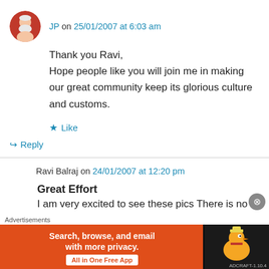JP on 25/01/2007 at 6:03 am
Thank you Ravi,
Hope people like you will join me in making our great community keep its glorious culture and customs.
Like
Reply
Ravi Balraj on 24/01/2007 at 12:20 pm
Great Effort
I am very excited to see these pics There is no
Advertisements
Search, browse, and email with more privacy. All in One Free App